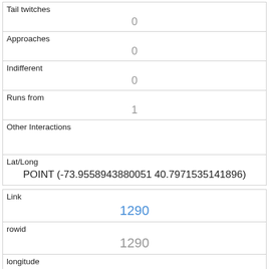| Tail twitches | 0 |
| Approaches | 0 |
| Indifferent | 0 |
| Runs from | 1 |
| Other Interactions |  |
| Lat/Long | POINT (-73.9558943880051 40.7971535141896) |
| Link | 1290 |
| rowid | 1290 |
| longitude | -73.96681408040659 |
| latitude | 40.77681001473329 |